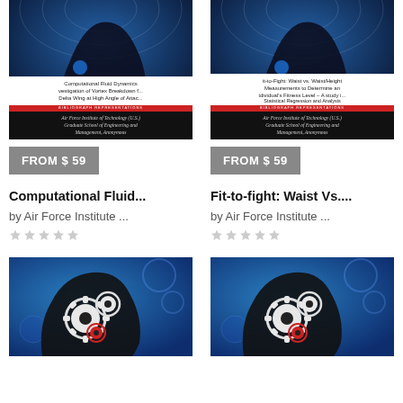[Figure (illustration): Book cover for Computational Fluid Dynamics dissertation - blue/dark head silhouette with radar circles]
FROM $ 59
Computational Fluid...
by Air Force Institute ...
[Figure (illustration): Book cover for Fit-to-Fight dissertation - blue/dark head silhouette with radar circles]
FROM $ 59
Fit-to-fight: Waist Vs....
by Air Force Institute ...
[Figure (illustration): Book cover with blue background and gear/cog head silhouette illustration]
[Figure (illustration): Book cover with blue background and gear/cog head silhouette illustration]